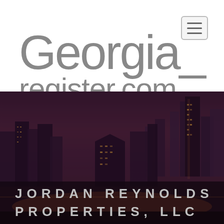[Figure (logo): Georgia_ register.com logo text in large grey sans-serif font on white background]
[Figure (photo): City skyline at night with purple/dark tint overlay showing tall buildings illuminated against dark sky]
JORDAN REYNOLDS PROPERTIES, LLC